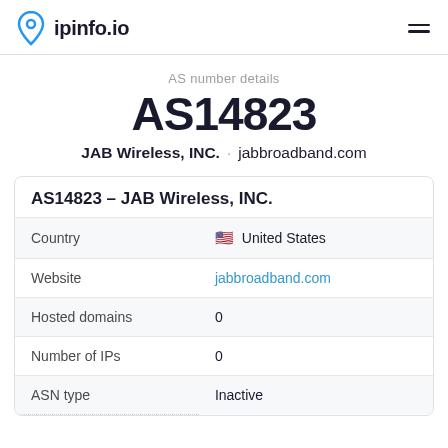ipinfo.io
AS number details
AS14823
JAB Wireless, INC.  ·  jabbroadband.com
AS14823 – JAB Wireless, INC.
|  |  |
| --- | --- |
| Country | 🇺🇸  United States |
| Website | jabbroadband.com |
| Hosted domains | 0 |
| Number of IPs | 0 |
| ASN type | Inactive |